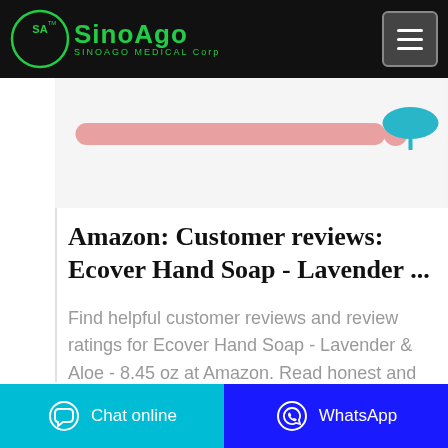SinoAgo Medical Corp
[Figure (photo): Partial product image showing a pink/rose colored bar or handle and a teal umbrella-like shape on a white/light background]
Amazon: Customer reviews: Ecover Hand Soap - Lavender ...
Find helpful customer reviews and review ratings for Ecover Hand Soap - Lavender & Aloe - 8.45 oz at Amazon. Read honest and unbiased product reviews from our users.
Chat online | WhatsApp